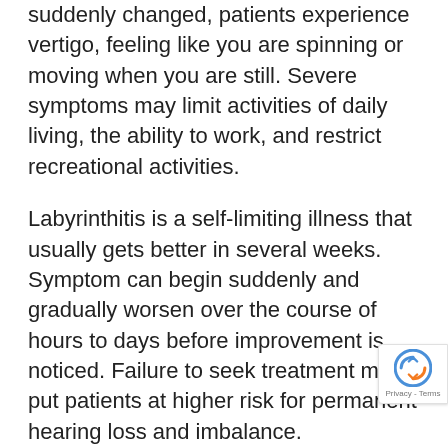suddenly changed, patients experience vertigo, feeling like you are spinning or moving when you are still. Severe symptoms may limit activities of daily living, the ability to work, and restrict recreational activities.
Labyrinthitis is a self-limiting illness that usually gets better in several weeks. Symptom can begin suddenly and gradually worsen over the course of hours to days before improvement is noticed. Failure to seek treatment may put patients at higher risk for permanent hearing loss and imbalance.
Although uncommon, it is possible to have some permanent hearing loss despite treatment. While most patients with imbalance and mild dizziness with head movement recover, sometimes it may take months to years to fully recover. Patients